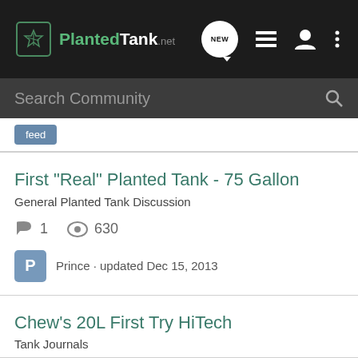PlantedTank.net navigation bar with logo, NEW button, list icon, user icon, menu icon
Search Community
First "Real" Planted Tank - 75 Gallon | General Planted Tank Discussion | 1 comment | 630 views | Prince · updated Dec 15, 2013
Chew's 20L First Try HiTech | Tank Journals | 1 comment | 841 views | chew · updated Jan 30, 2013